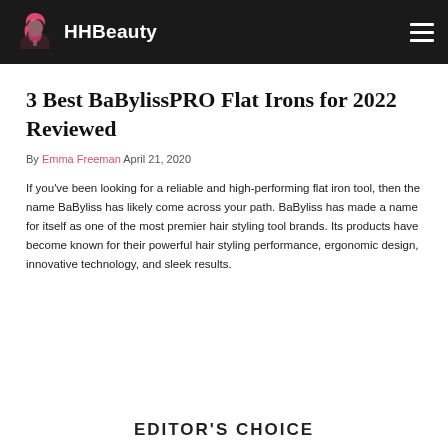HHBeauty
3 Best BaBylissPRO Flat Irons for 2022 Reviewed
By Emma Freeman April 21, 2020
If you've been looking for a reliable and high-performing flat iron tool, then the name BaByliss has likely come across your path. BaByliss has made a name for itself as one of the most premier hair styling tool brands. Its products have become known for their powerful hair styling performance, ergonomic design, innovative technology, and sleek results.
EDITOR'S CHOICE